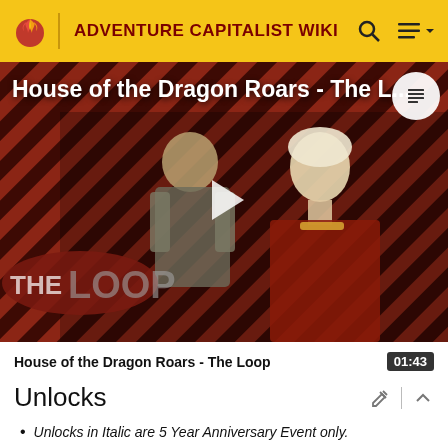ADVENTURE CAPITALIST WIKI
[Figure (screenshot): Video thumbnail showing House of the Dragon Roars - The Loop with two characters on a red and black diagonal stripe background, The Loop logo visible, play button in center]
House of the Dragon Roars - The Loop   01:43
Unlocks
Unlocks in Italic are 5 Year Anniversary Event only.